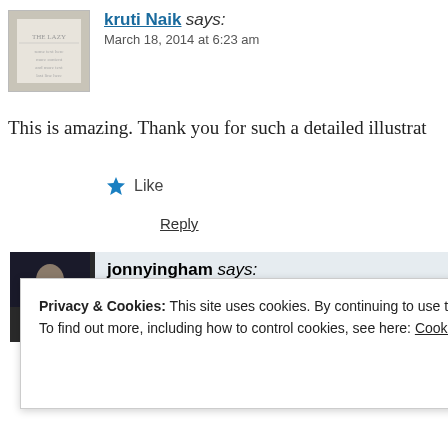kruti Naik says: March 18, 2014 at 6:23 am
This is amazing. Thank you for such a detailed illustrat
★ Like
Reply
jonnyingham says: March 18, 2014 at 8:27 am
Thank you Kruti!
Privacy & Cookies: This site uses cookies. By continuing to use this website, you agree to their use.
To find out more, including how to control cookies, see here: Cookie Policy
Close and accept